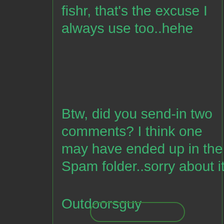fishr, that's the excuse I always use too..hehe
Btw, did you send-in two comments? I think one may have ended up in the Spam folder..sorry about it.
Outdoorsguy